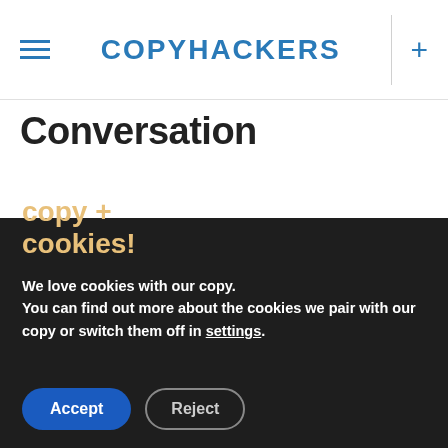COPYHACKERS
Conversation
copy + cookies!
We love cookies with our copy. You can find out more about the cookies we pair with our copy or switch them off in settings.
Accept | Reject